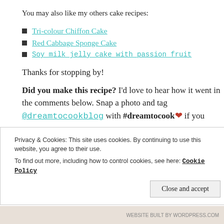You may also like my others cake recipes:
Tri-colour Chiffon Cake
Red Cabbage Sponge Cake
Soy milk jelly cake with passion fruit
Thanks for stopping by!
Did you make this recipe? I'd love to hear how it went in the comments below. Snap a photo and tag @dreamtocookblog with #dreamtocook ❤ if you
Privacy & Cookies: This site uses cookies. By continuing to use this website, you agree to their use. To find out more, including how to control cookies, see here: Cookie Policy
Close and accept